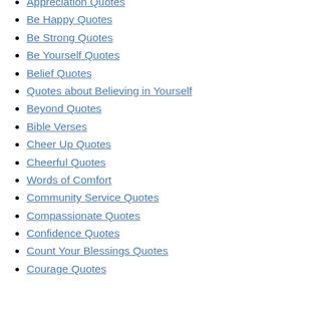Appreciation Quotes
Be Happy Quotes
Be Strong Quotes
Be Yourself Quotes
Belief Quotes
Quotes about Believing in Yourself
Beyond Quotes
Bible Verses
Cheer Up Quotes
Cheerful Quotes
Words of Comfort
Community Service Quotes
Compassionate Quotes
Confidence Quotes
Count Your Blessings Quotes
Courage Quotes